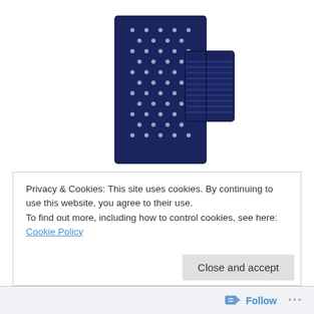[Figure (photo): A navy blue and white knit tie folded/crossed, showing a diamond/dot knit pattern on the main body and ribbed tip, photographed on white background.]
shame on me for not mentioning the knottery before now. jay and jack make great looking ties, pocket squares, and belts that won't hurt you wallet, but look like they did.  for this holiday season, they created a tie that looks an awful lot like a certain norwegian sweater you've been telling
Privacy & Cookies: This site uses cookies. By continuing to use this website, you agree to their use.
To find out more, including how to control cookies, see here: Cookie Policy
Close and accept
Follow